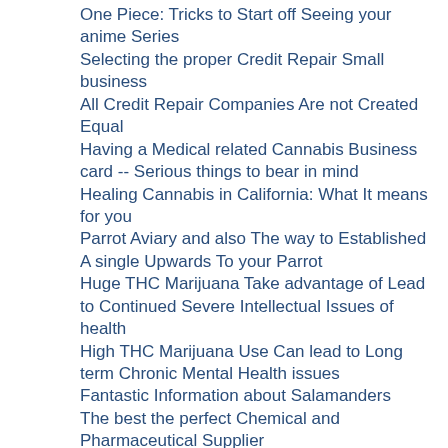One Piece: Tricks to Start off Seeing your anime Series
Selecting the proper Credit Repair Small business
All Credit Repair Companies Are not Created Equal
Having a Medical related Cannabis Business card -- Serious things to bear in mind
Healing Cannabis in California: What It means for you
Parrot Aviary and also The way to Established A single Upwards To your Parrot
Huge THC Marijuana Take advantage of Lead to Continued Severe Intellectual Issues of health
High THC Marijuana Use Can lead to Long term Chronic Mental Health issues
Fantastic Information about Salamanders
The best the perfect Chemical and Pharmaceutical Supplier
Picking an appropriate Chemical and Pharmaceutical Supplier
Great need of Pet Supplies
Currency Trading Strategies - How to define The